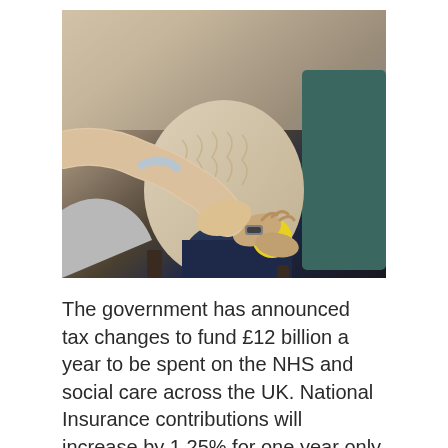[Figure (photo): Close-up photo of an elderly person seated, holding a yellow stress ball on their knee, with a younger person's hand reaching over to hold their wrist/hand in a caring gesture. Another person is partially visible in the background wearing a teal top. The setting appears to be a care or health environment.]
The government has announced tax changes to fund £12 billion a year to be spent on the NHS and social care across the UK. National Insurance contributions will increase by 1.25% for one year only for employees, employers and the self-employed from April 2022. This will cover